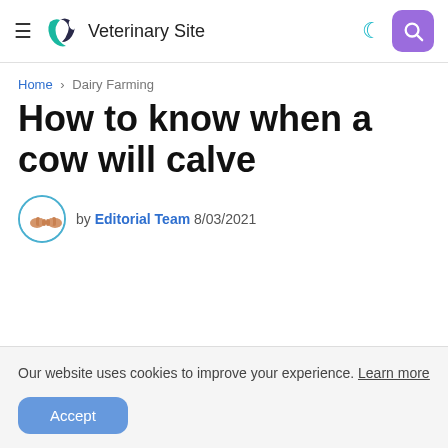Veterinary Site
Home › Dairy Farming
How to know when a cow will calve
by Editorial Team 8/03/2021
Our website uses cookies to improve your experience. Learn more
Accept